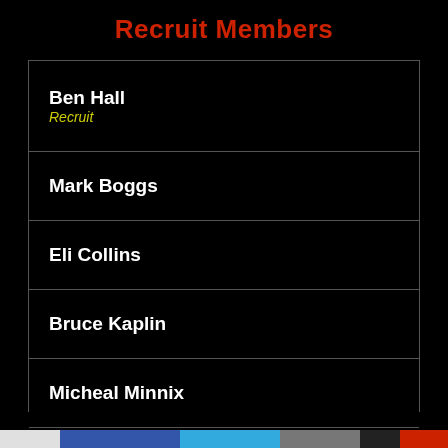Recruit Members
Ben Hall — Recruit
Mark Boggs
Eli Collins
Bruce Kaplin
Micheal Minnix
Hunter Garrison
Michelle Dillow